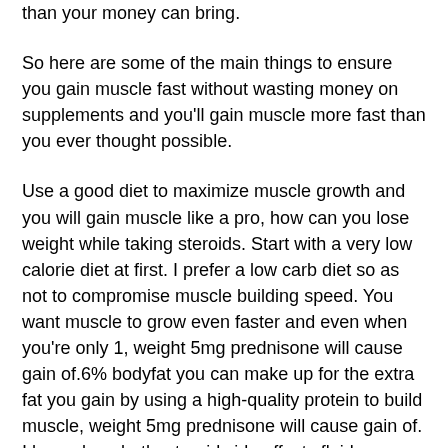than your money can bring.
So here are some of the main things to ensure you gain muscle fast without wasting money on supplements and you'll gain muscle more fast than you ever thought possible.
Use a good diet to maximize muscle growth and you will gain muscle like a pro, how can you lose weight while taking steroids. Start with a very low calorie diet at first. I prefer a low carb diet so as not to compromise muscle building speed. You want muscle to grow even faster and even when you're only 1, weight 5mg prednisone will cause gain of.6% bodyfat you can make up for the extra fat you gain by using a high-quality protein to build muscle, weight 5mg prednisone will cause gain of. I have done both, steroid side effects fluid retention. I prefer high quality protein in it to lose fat. I can't see that going